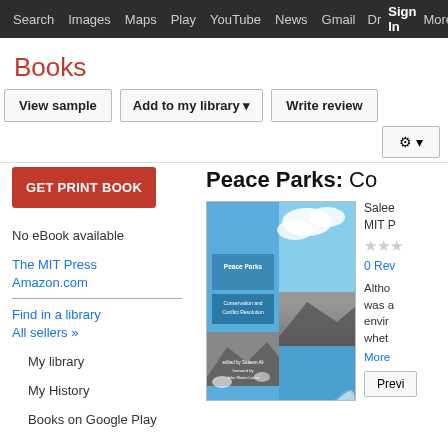Search  Images  Maps  Play  YouTube  News  Gmail  Drive  More  Sign in  Settings
Books
View sample  Add to my library  Write review
GET PRINT BOOK
No eBook available
The MIT Press
Amazon.com
Find in a library
All sellers »
My library
My History
Books on Google Play
Peace Parks: Co
[Figure (photo): Book cover for Peace Parks showing blue sky, mountain, and landscape scenes with title 'Peace Parks: Conservation and Conflict Resolution']
Salee
MIT P
★★★
0 Rev
Altho was a envir whet
More
Previ